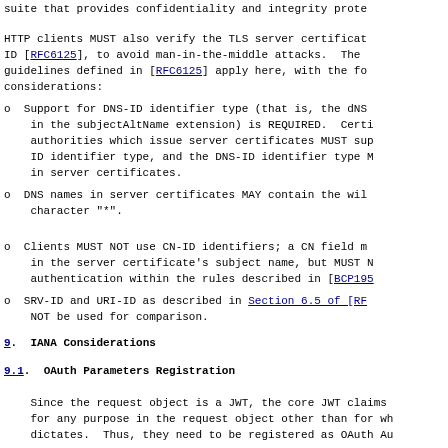suite that provides confidentiality and integrity prote...
HTTP clients MUST also verify the TLS server certificat... ID [RFC6125], to avoid man-in-the-middle attacks. The guidelines defined in [RFC6125] apply here, with the fo... considerations:
Support for DNS-ID identifier type (that is, the dNS... in the subjectAltName extension) is REQUIRED. Certi... authorities which issue server certificates MUST sup... ID identifier type, and the DNS-ID identifier type M... in server certificates.
DNS names in server certificates MAY contain the wil... character "*".
Clients MUST NOT use CN-ID identifiers; a CN field m... in the server certificate's subject name, but MUST N... authentication within the rules described in [BCP195...
SRV-ID and URI-ID as described in Section 6.5 of [RF... NOT be used for comparison.
9.  IANA Considerations
9.1.  OAuth Parameters Registration
Since the request object is a JWT, the core JWT claims for any purpose in the request object other than for wh... dictates. Thus, they need to be registered as OAuth Au...